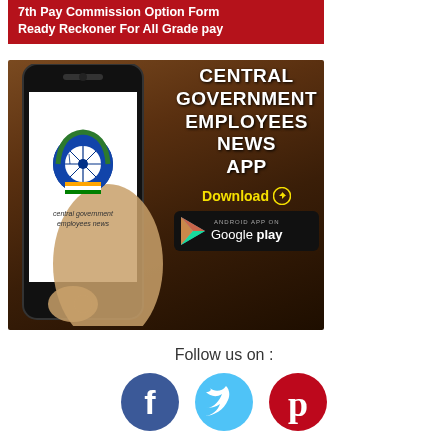7th Pay Commission Option Form
Ready Reckoner For All Grade pay
[Figure (infographic): Central Government Employees News App advertisement showing a hand holding a smartphone with the app logo, alongside bold white text reading CENTRAL GOVERNMENT EMPLOYEES NEWS APP with a Download button and Google Play badge]
Follow us on :
[Figure (infographic): Three social media icons: Facebook (blue circle with f), Twitter (light blue circle with bird), Pinterest (red circle with P)]